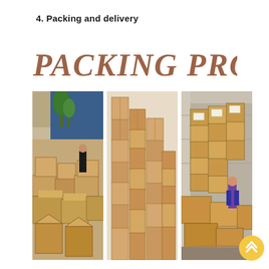4. Packing and delivery
[Figure (illustration): Large decorative text reading 'PACKING PROCESS' in italic serif brown letters]
[Figure (photo): Three photos side by side: left photo shows a warehouse yard with cardboard boxes stacked and workers; middle photo shows tall stacks of cardboard shipping boxes; right photo shows boxes being loaded into a shipping container with a worker]
[Figure (other): Yellow circular back-to-top button with double up-arrow chevron icon]